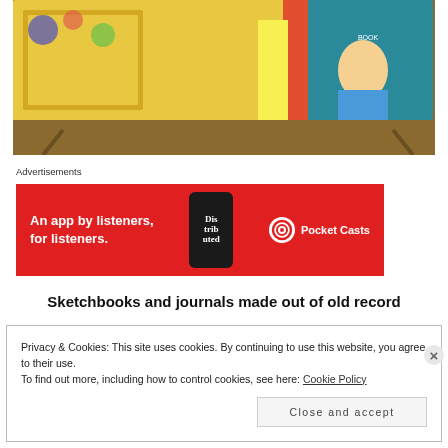[Figure (photo): Photo of colorful children's books and illustrated boxes displayed on a table, viewed from above at an angle. Includes yellow cartoon-illustrated books and a teal/blue book on the right side.]
Advertisements
[Figure (other): Red advertisement banner for Pocket Casts app. Text reads: An app by listeners, for listeners. Shows phone graphic with word Distributed and the Pocket Casts logo on the right.]
Sketchbooks and journals made out of old record
Privacy & Cookies: This site uses cookies. By continuing to use this website, you agree to their use.
To find out more, including how to control cookies, see here: Cookie Policy
Close and accept